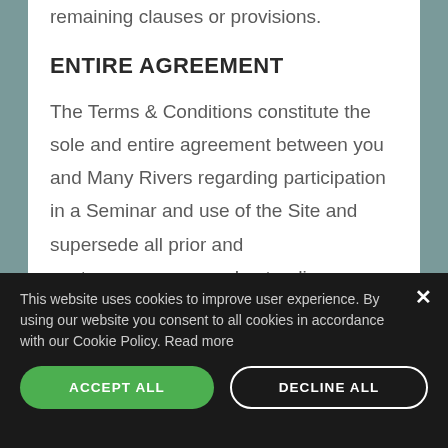remaining clauses or provisions.
ENTIRE AGREEMENT
The Terms & Conditions constitute the sole and entire agreement between you and Many Rivers regarding participation in a Seminar and use of the Site and supersede all prior and contemporaneous understandings, agreements, representations and warranties, both
This website uses cookies to improve user experience. By using our website you consent to all cookies in accordance with our Cookie Policy. Read more
ACCEPT ALL
DECLINE ALL